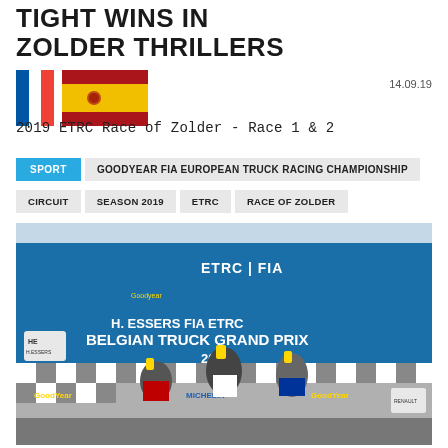TIGHT WINS IN ZOLDER THRILLERS
[Figure (illustration): French and Spanish national flags side by side]
14.09.19
2019 ETRC Race of Zolder - Race 1 & 2
SPORT | GOODYEAR FIA EUROPEAN TRUCK RACING CHAMPIONSHIP
CIRCUIT | SEASON 2019 | ETRC | RACE OF ZOLDER
[Figure (photo): Podium celebration photo at H. Essers FIA ETRC Belgian Truck Grand Prix 2019, with race winners holding trophies in front of ETRC/FIA branded backdrop with Goodyear and Michelin sponsor logos]